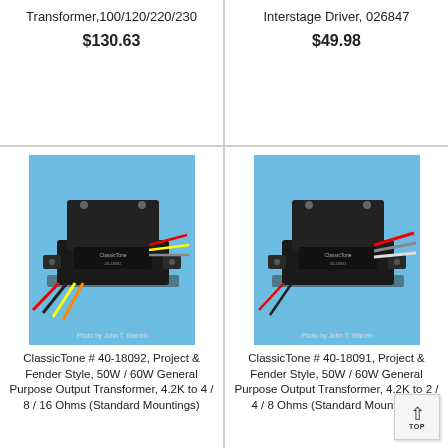Transformer,100/120/220/230
$130.63
Interstage Driver, 026847
$49.98
[Figure (photo): ClassicTone black output transformer with colored wires on blue background. Photo by John T. Warren.]
ClassicTone # 40-18092, Project & Fender Style, 50W / 60W General Purpose Output Transformer, 4.2K to 4 / 8 / 16 Ohms (Standard Mountings)
[Figure (photo): ClassicTone black output transformer with colored wires on blue background. Photo by John T. Warren.]
ClassicTone # 40-18091, Project & Fender Style, 50W / 60W General Purpose Output Transformer, 4.2K to 2 / 4 / 8 Ohms (Standard Mountings)